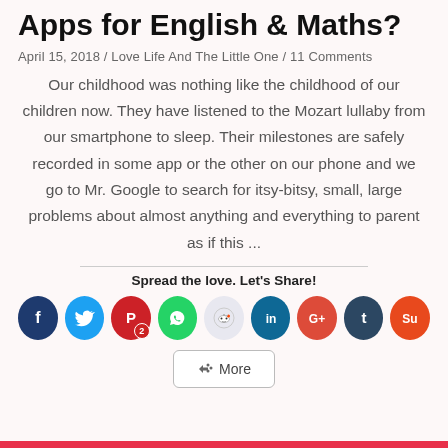Apps for English & Maths?
April 15, 2018 / Love Life And The Little One / 11 Comments
Our childhood was nothing like the childhood of our children now. They have listened to the Mozart lullaby from our smartphone to sleep. Their milestones are safely recorded in some app or the other on our phone and we go to Mr. Google to search for itsy-bitsy, small, large problems about almost anything and everything to parent as if this ...
Spread the love. Let's Share!
[Figure (infographic): Social media share buttons: Facebook, Twitter, Pinterest (with badge 2), WhatsApp, Reddit, LinkedIn, Google+, Tumblr, StumbleUpon, and a More button]